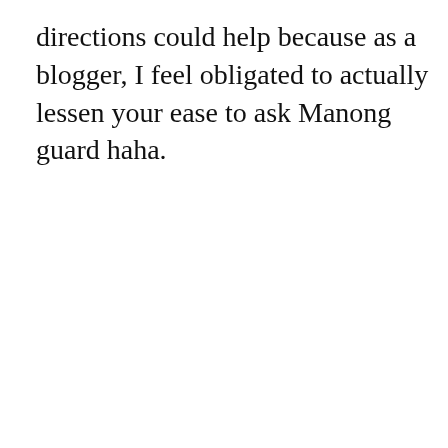directions could help because as a blogger, I feel obligated to actually lessen your ease to ask Manong guard haha.